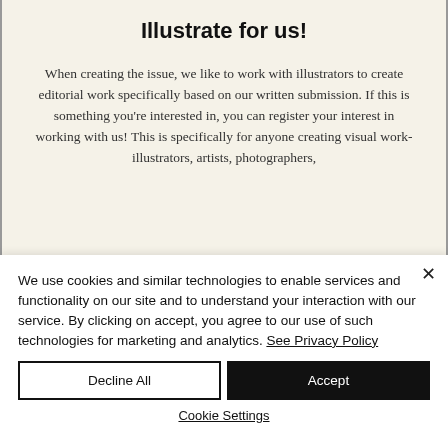Illustrate for us!
When creating the issue, we like to work with illustrators to create editorial work specifically based on our written submission. If this is something you're interested in, you can register your interest in working with us! This is specifically for anyone creating visual work- illustrators, artists, photographers,
We use cookies and similar technologies to enable services and functionality on our site and to understand your interaction with our service. By clicking on accept, you agree to our use of such technologies for marketing and analytics. See Privacy Policy
Decline All
Accept
Cookie Settings